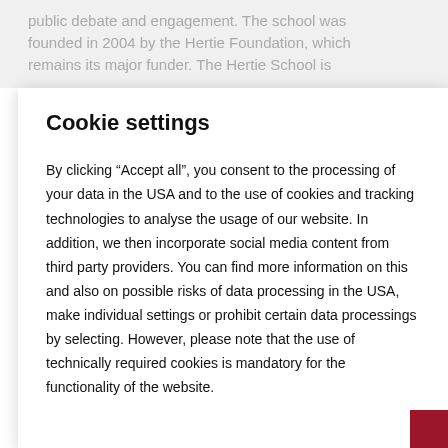public debate and engagement. The school was founded in 2004 by the Hertie Foundation, which remains its major funder. The Hertie School is
Cookie settings
By clicking “Accept all”, you consent to the processing of your data in the USA and to the use of cookies and tracking technologies to analyse the usage of our website. In addition, we then incorporate social media content from third party providers. You can find more information on this and also on possible risks of data processing in the USA, make individual settings or prohibit certain data processings by selecting. However, please note that the use of technically required cookies is mandatory for the functionality of the website.